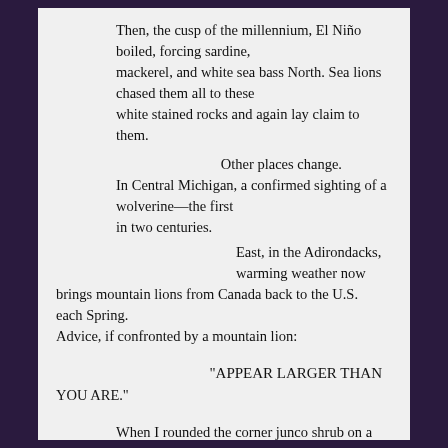Then, the cusp of the millennium, El Niño boiled, forcing sardine,
mackerel, and white sea bass North. Sea lions chased them all to these
white stained rocks and again lay claim to them.

                                        Other places change.
       In Central Michigan, a confirmed sighting of a wolverine—the first
in two centuries.
                   East, in the Adirondacks, warming weather now
brings mountain lions from Canada back to the U.S. each Spring.
Advice, if confronted by a mountain lion:

                                   "APPEAR LARGER THAN YOU ARE."

When I rounded the corner junco shrub on a dusty